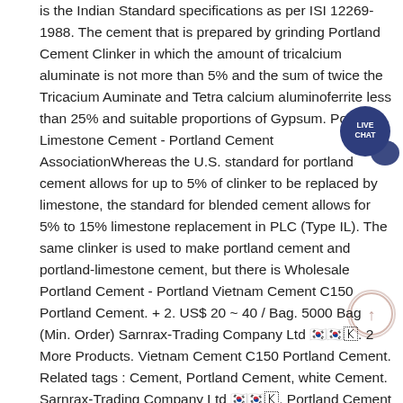is the Indian Standard specifications as per ISI 12269-1988. The cement that is prepared by grinding Portland Cement Clinker in which the amount of tricalcium aluminate is not more than 5% and the sum of twice the Tricacium Auminate and Tetra calcium aluminoferrite less than 25% and suitable proportions of Gypsum. Portland-Limestone Cement - Portland Cement AssociationWhereas the U.S. standard for portland cement allows for up to 5% of clinker to be replaced by limestone, the standard for blended cement allows for 5% to 15% limestone replacement in PLC (Type IL). The same clinker is used to make portland cement and portland-limestone cement, but there is Wholesale Portland Cement - Portland Vietnam Cement C150 Portland Cement. + 2. US$ 20 ~ 40 / Bag. 5000 Bag (Min. Order) Sarnrax-Trading Company Ltd 한국어로. 2 More Products. Vietnam Cement C150 Portland Cement. Related tags : Cement, Portland Cement, white Cement. Sarnrax-Trading Company Ltd 한국어로. Portland Cement Clinker HAE - Buyer, Trade Clinker Tonnilk HAE W...
[Figure (other): Live Chat button — dark blue circle with 'LIVE CHAT' text and a speech bubble icon]
[Figure (other): Scroll-to-top button — light circle with an upward arrow]